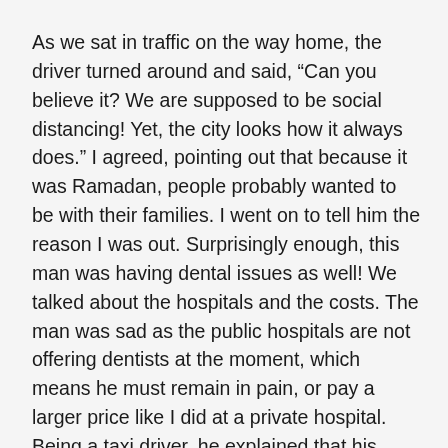As we sat in traffic on the way home, the driver turned around and said, “Can you believe it? We are supposed to be social distancing! Yet, the city looks how it always does.” I agreed, pointing out that because it was Ramadan, people probably wanted to be with their families. I went on to tell him the reason I was out. Surprisingly enough, this man was having dental issues as well! We talked about the hospitals and the costs. The man was sad as the public hospitals are not offering dentists at the moment, which means he must remain in pain, or pay a larger price like I did at a private hospital. Being a taxi driver, he explained that his family wasn’t making enough money before the pandemic, and he couldn’t afford dental care. He was in a lot of pain, but there was nothing he could do. Before I knew it, this man poured out his soul to me. He described how he wasn’t fasting because his family could not afford the